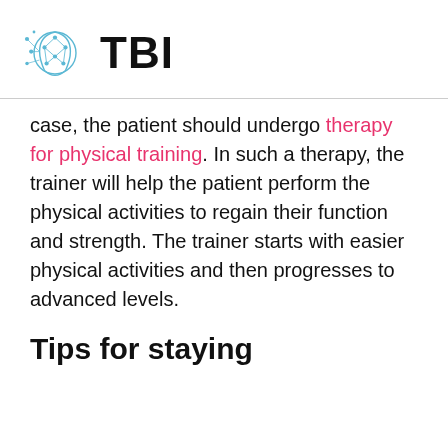[Figure (logo): TBI logo with neural/brain network graphic in blue and the text TBI in bold black]
case, the patient should undergo therapy for physical training. In such a therapy, the trainer will help the patient perform the physical activities to regain their function and strength. The trainer starts with easier physical activities and then progresses to advanced levels.
Tips for staying